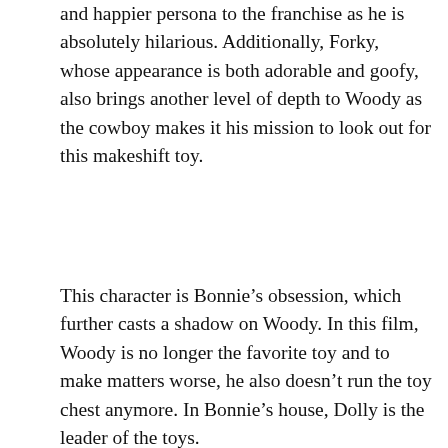and happier persona to the franchise as he is absolutely hilarious. Additionally, Forky, whose appearance is both adorable and goofy, also brings another level of depth to Woody as the cowboy makes it his mission to look out for this makeshift toy.
This character is Bonnie's obsession, which further casts a shadow on Woody. In this film, Woody is no longer the favorite toy and to make matters worse, he also doesn't run the toy chest anymore. In Bonnie's house, Dolly is the leader of the toys.
[Figure (photo): Split image advertisement: left side shows a medical professional in blue scrubs and gloves leaning over in a hospital/clinical setting; right side shows a person in business attire in an office/classroom setting. An 'ECOLAB SCIENCE CERTIFIED' logo badge appears in the upper right. Below the image is a light blue banner with text 'Same Scientific Expertise. Different Places.']